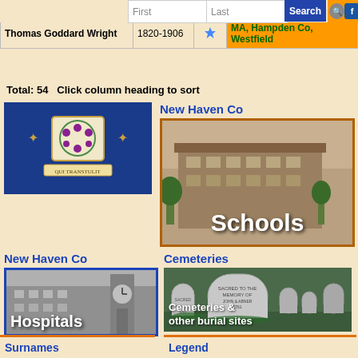| Name | Dates |  | Location |
| --- | --- | --- | --- |
| Sylvia Woodruff | 1886- |  | Farmington |
| Thomas Goddard Wright | 1820-1906 |  | MA, Hampden Co, Westfield |
Total: 54   Click column heading to sort
[Figure (photo): Connecticut state flag — blue background with white/gold coat of arms]
New Haven Co
[Figure (photo): Sepia-toned photo of a large multi-story brick school building with text overlay 'Schools']
New Haven Co
[Figure (photo): Black and white photo of a hospital building with clock tower with text overlay 'Hospitals']
Cemeteries
[Figure (photo): Photo of old cemetery gravestones with text overlay 'Cemeteries & other burial sites']
Surnames
Legend